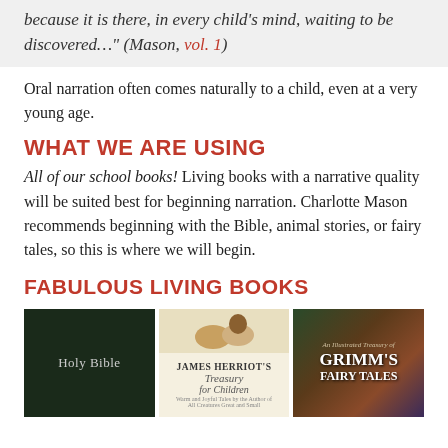because it is there, in every child's mind, waiting to be discovered…" (Mason, vol. 1)
Oral narration often comes naturally to a child, even at a very young age.
WHAT WE ARE USING
All of our school books! Living books with a narrative quality will be suited best for beginning narration. Charlotte Mason recommends beginning with the Bible, animal stories, or fairy tales, so this is where we will begin.
FABULOUS LIVING BOOKS
[Figure (photo): Three book covers: Holy Bible (dark cover), James Herriot's Treasury for Children, and An Illustrated Treasury of Grimm's Fairy Tales]